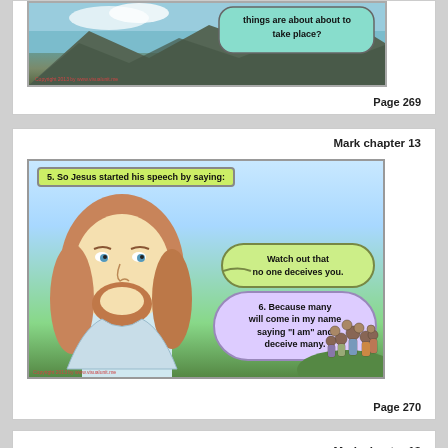[Figure (illustration): Top partial comic panel showing a speech bubble with text 'things are about about to take place?' over a landscape background]
Page 269
Mark chapter 13
[Figure (illustration): Comic panel showing Jesus speaking. Verse 5 label reads 'So Jesus started his speech by saying:'. Jesus has a speech bubble: 'Watch out that no one deceives you.' A second bubble reads '6. Because many will come in my name saying "I am" and deceive many.' Crowd of people visible at right.]
Page 270
Mark chapter 13